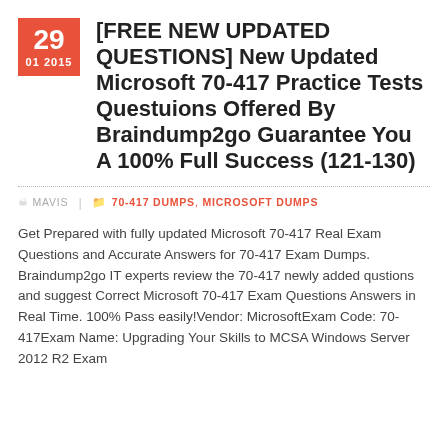[FREE NEW UPDATED QUESTIONS] New Updated Microsoft 70-417 Practice Tests Questuions Offered By Braindump2go Guarantee You A 100% Full Success (121-130)
MAVIS | 70-417 DUMPS, MICROSOFT DUMPS
Get Prepared with fully updated Microsoft 70-417 Real Exam Questions and Accurate Answers for 70-417 Exam Dumps. Braindump2go IT experts review the 70-417 newly added qustions and suggest Correct Microsoft 70-417 Exam Questions Answers in Real Time. 100% Pass easily!Vendor: MicrosoftExam Code: 70-417Exam Name: Upgrading Your Skills to MCSA Windows Server 2012 R2 Exam